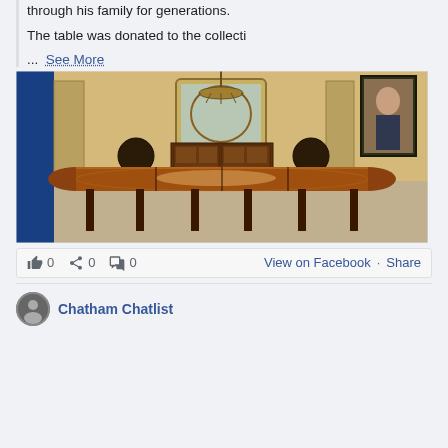through his family for generations.
The table was donated to the collecti
... See More
[Figure (photo): A large antique wooden dining table with curved ends and multiple legs, photographed in a room with cream/yellow walls. Two dark wooden chairs are visible on either side. In the background there is a wooden sideboard/cabinet, a decorative mirror, green wall panels, and a portrait painting on the right wall. A chandelier hangs from the ceiling.]
0  0  0  View on Facebook · Share
Chatham Chatlist